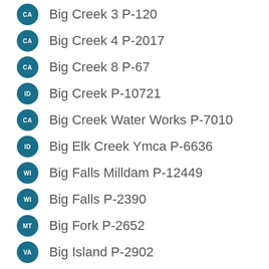CA Big Creek 3 P-120
CA Big Creek 4 P-2017
CA Big Creek 8 P-67
ID Big Creek P-10721
CA Big Creek Water Works P-7010
ID Big Elk Creek Ymca P-6636
WI Big Falls Milldam P-12449
WI Big Falls P-2390
MT Big Fork P-2652
VA Big Island P-2902